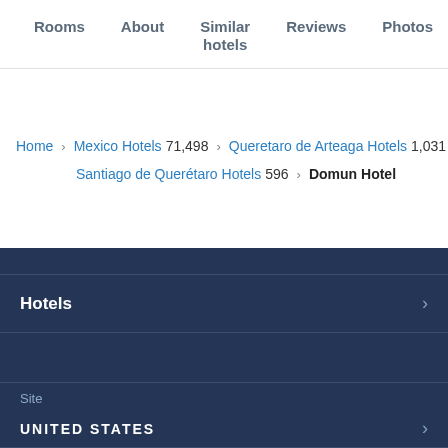Rooms | About | Similar hotels | Reviews | Photos | Location
Home > Mexico Hotels 71,498 > Queretaro de Arteaga Hotels 1,031 > Santiago de Querétaro Hotels 596 > Domun Hotel
Hotels >
Site
UNITED STATES